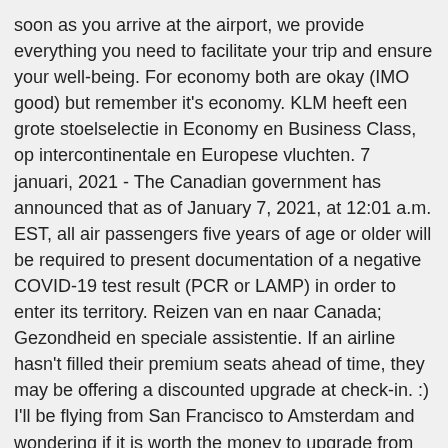soon as you arrive at the airport, we provide everything you need to facilitate your trip and ensure your well-being. For economy both are okay (IMO good) but remember it's economy. KLM heeft een grote stoelselectie in Economy en Business Class, op intercontinentale en Europese vluchten. 7 januari, 2021 - The Canadian government has announced that as of January 7, 2021, at 12:01 a.m. EST, all air passengers five years of age or older will be required to present documentation of a negative COVID-19 test result (PCR or LAMP) in order to enter its territory. Reizen van en naar Canada; Gezondheid en speciale assistentie. If an airline hasn't filled their premium seats ahead of time, they may be offering a discounted upgrade at check-in. :) I'll be flying from San Francisco to Amsterdam and wondering if it is worth the money to upgrade from an economy seat to an economy "comfort" seat on KLM airlines. Air Canada is another airline that is committed to expanding its premium economy class fares across its routes. By offering direct access to amazing destinations, and with valuable perks built-in to your ticket, you can maximize your trip when you fly Air Canada Rouge. 13 D; None; No Power; Seat 13 D is a